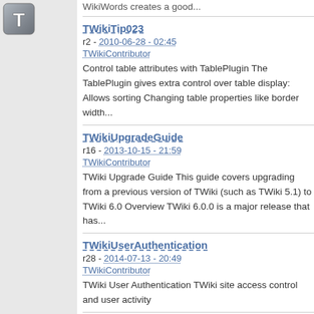[Figure (logo): TWiki T logo icon, metallic grey square with T letter]
WikiWords creates a good...
TWikiTip023
r2 - 2010-06-28 - 02:45 TWikiContributor
Control table attributes with TablePlugin The TablePlugin gives extra control over table display: Allows sorting Changing table properties like border width...
TWikiUpgradeGuide
r16 - 2013-10-15 - 21:59 TWikiContributor
TWiki Upgrade Guide This guide covers upgrading from a previous version of TWiki (such as TWiki 5.1) to TWiki 6.0 Overview TWiki 6.0.0 is a major release that has...
TWikiUserAuthentication
r28 - 2014-07-13 - 20:49 TWikiContributor
TWiki User Authentication TWiki site access control and user activity